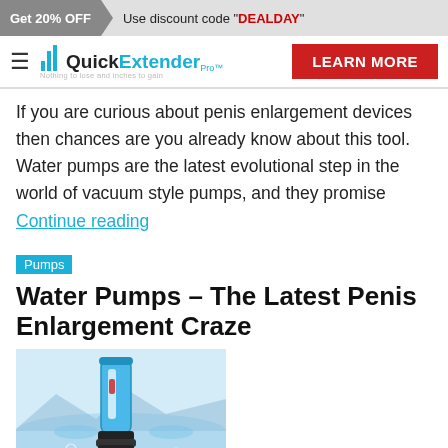Get 20% OFF  Use discount code "DEALDAY"
[Figure (logo): QuickExtender Pro logo with hamburger menu and LEARN MORE button]
If you are curious about penis enlargement devices then chances are you already know about this tool. Water pumps are the latest evolutional step in the world of vacuum style pumps, and they promise Continue reading
Pumps
Water Pumps – The Latest Penis Enlargement Craze
[Figure (photo): A blue water-based penis pump device shown submerged in water with bubbles around its base]